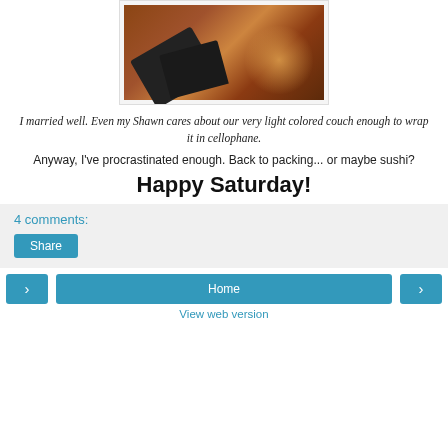[Figure (photo): Photo of feet/shoes on a wooden floor with warm light, possibly showing someone sitting on a couch wrapped in cellophane]
I married well. Even my Shawn cares about our very light colored couch enough to wrap it in cellophane.
Anyway, I've procrastinated enough. Back to packing... or maybe sushi?
Happy Saturday!
4 comments:
Share
Home | View web version